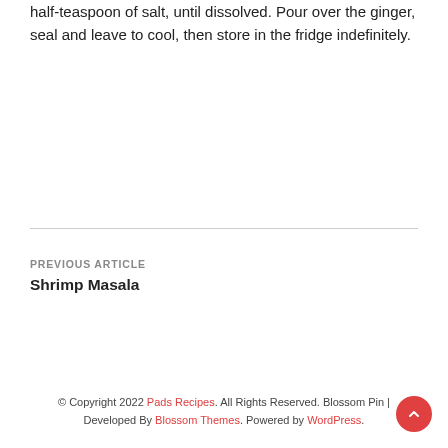half-teaspoon of salt, until dissolved. Pour over the ginger, seal and leave to cool, then store in the fridge indefinitely.
PREVIOUS ARTICLE
Shrimp Masala
© Copyright 2022 Pads Recipes. All Rights Reserved. Blossom Pin | Developed By Blossom Themes. Powered by WordPress.